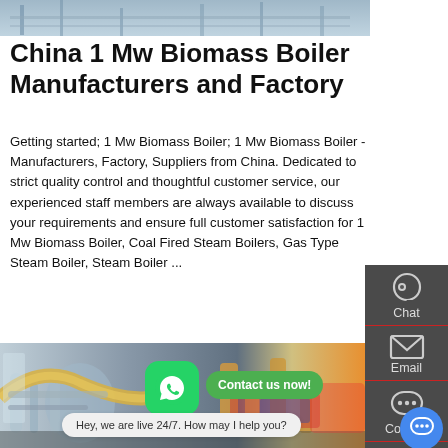[Figure (photo): Top photo of industrial boiler facility interior, metal structures visible]
China 1 Mw Biomass Boiler Manufacturers and Factory
Getting started; 1 Mw Biomass Boiler; 1 Mw Biomass Boiler - Manufacturers, Factory, Suppliers from China. Dedicated to strict quality control and thoughtful customer service, our experienced staff members are always available to discuss your requirements and ensure full customer satisfaction for 1 Mw Biomass Boiler, Coal Fired Steam Boilers, Gas Type Steam Boiler, Steam Boiler ...
[Figure (screenshot): Right sidebar with dark grey background showing Chat, Email, Contact, Top icons]
[Figure (photo): Bottom industrial boiler room photo with pipes, yellow ducts, WhatsApp button and Contact us now banner overlay]
Hey, we are live 24/7. How may I help you?